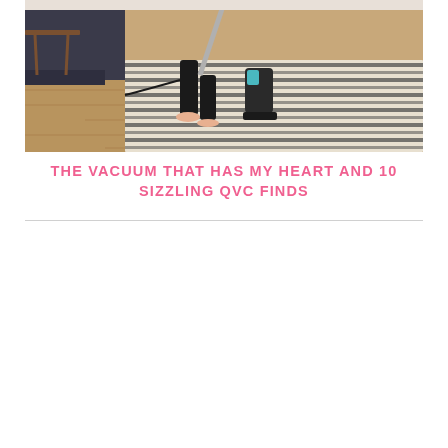[Figure (photo): A person vacuuming a striped rug on a hardwood floor. The person is barefoot, wearing black pants, and using an upright vacuum cleaner that is teal/dark colored. A wooden side table and dark sofa are visible in the background.]
THE VACUUM THAT HAS MY HEART AND 10 SIZZLING QVC FINDS